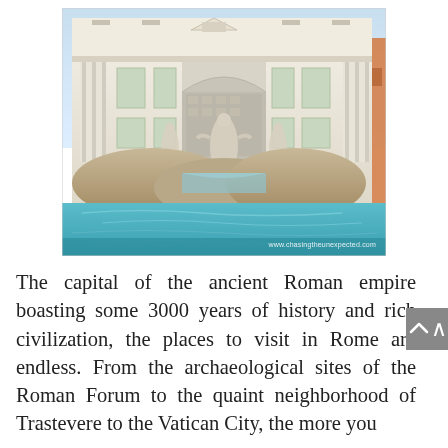[Figure (photo): Photograph of the Trevi Fountain in Rome, showing the baroque facade with classical columns, statues of Neptune and sea horses, and the turquoise fountain pool in the foreground. Watermark reads www.chasingtheunexpected.com]
The capital of the ancient Roman empire boasting some 3000 years of history and rich civilization, the places to visit in Rome are endless. From the archaeological sites of the Roman Forum to the quaint neighborhood of Trastevere to the Vatican City, the more you